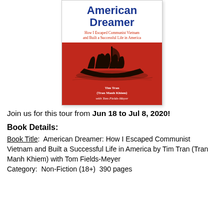[Figure (illustration): Book cover of 'American Dreamer: How I Escaped Communist Vietnam and Built a Successful Life in America' by Tim Tran (Tran Manh Khiem) with Tom Fields-Meyer. Top half white with blue bold title and red subtitle. Bottom half red with a dark silhouette illustration of a boat and author name in white.]
Join us for this tour from Jun 18 to Jul 8, 2020!
Book Details:
Book Title:  American Dreamer: How I Escaped Communist Vietnam and Built a Successful Life in America by Tim Tran (Tran Manh Khiem) with Tom Fields-Meyer
Category:  Non-Fiction (18+)  390 pages